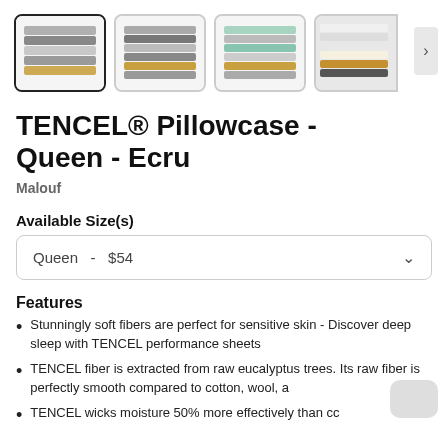[Figure (photo): Four thumbnail images of folded fabric sheets in various color arrangements (grays, gold, mint, white). First thumbnail is selected with a border.]
TENCEL® Pillowcase - Queen - Ecru
Malouf
Available Size(s)
Queen  -  $54
Features
Stunningly soft fibers are perfect for sensitive skin - Discover deep sleep with TENCEL performance sheets
TENCEL fiber is extracted from raw eucalyptus trees. Its raw fiber is perfectly smooth compared to cotton, wool, a
TENCEL wicks moisture 50% more effectively than cc